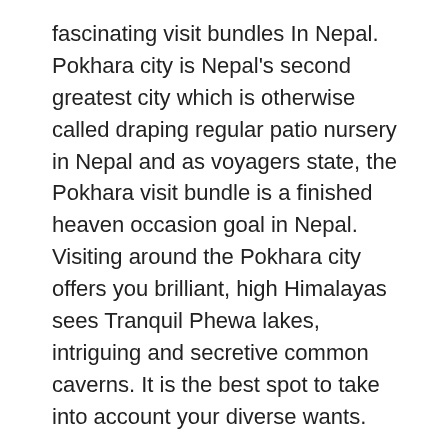fascinating visit bundles In Nepal. Pokhara city is Nepal's second greatest city which is otherwise called draping regular patio nursery in Nepal and as voyagers state, the Pokhara visit bundle is a finished heaven occasion goal in Nepal. Visiting around the Pokhara city offers you brilliant, high Himalayas sees Tranquil Phewa lakes, intriguing and secretive common caverns. It is the best spot to take into account your diverse wants.
The Pokhara city can reach from Kathmandu by utilizing private/open transport or By Air. The grand and safe drive to Pokhara takes around 7 hours along the green lavish valley and waterways and taking Air takes just 30 minutes over high mountains. When you are in the Pokhara lakeside zone is a well-known territory where you have a simple overabundance to get Accommodation, Many Different local people and worldwide sustenances,